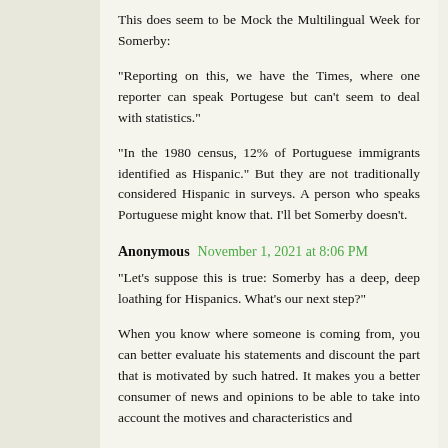This does seem to be Mock the Multilingual Week for Somerby:
"Reporting on this, we have the Times, where one reporter can speak Portugese but can't seem to deal with statistics."
"In the 1980 census, 12% of Portuguese immigrants identified as Hispanic." But they are not traditionally considered Hispanic in surveys. A person who speaks Portuguese might know that. I'll bet Somerby doesn't.
Anonymous  November 1, 2021 at 8:06 PM
"Let's suppose this is true: Somerby has a deep, deep loathing for Hispanics. What's our next step?"
When you know where someone is coming from, you can better evaluate his statements and discount the part that is motivated by such hatred. It makes you a better consumer of news and opinions to be able to take into account the motives and characteristics and